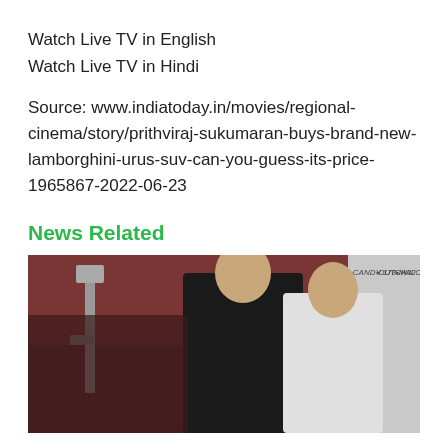Watch Live TV in English
Watch Live TV in Hindi
Source: www.indiatoday.in/movies/regional-cinema/story/prithviraj-sukumaran-buys-brand-new-lamborghini-urus-suv-can-you-guess-its-price-1965867-2022-06-23
News Related
[Figure (photo): Two men leaning against a wall with graffiti text reading CANDY 178, DUTCH32, MALCOLM38. One man in black, one in white shirt.]